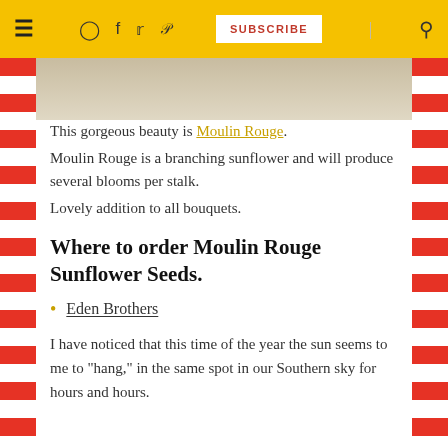≡  [instagram] [facebook] [twitter] [pinterest]  SUBSCRIBE  [search]
[Figure (photo): Partial photo of sunflower at top of content area]
This gorgeous beauty is Moulin Rouge.
Moulin Rouge is a branching sunflower and will produce several blooms per stalk.
Lovely addition to all bouquets.
Where to order Moulin Rouge Sunflower Seeds.
Eden Brothers
I have noticed that this time of the year the sun seems to me to "hang," in the same spot in our Southern sky for hours and hours.